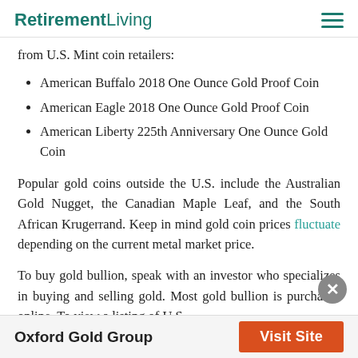RetirementLiving
from U.S. Mint coin retailers:
American Buffalo 2018 One Ounce Gold Proof Coin
American Eagle 2018 One Ounce Gold Proof Coin
American Liberty 225th Anniversary One Ounce Gold Coin
Popular gold coins outside the U.S. include the Australian Gold Nugget, the Canadian Maple Leaf, and the South African Krugerrand. Keep in mind gold coin prices fluctuate depending on the current metal market price.
To buy gold bullion, speak with an investor who specializes in buying and selling gold. Most gold bullion is purchased online. To view a listing of U.S.
Oxford Gold Group | Visit Site